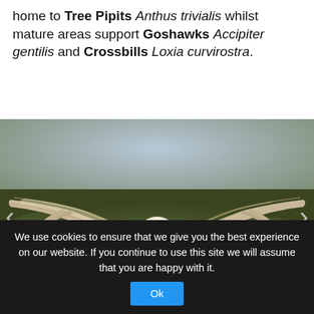home to Tree Pipits Anthus trivialis whilst mature areas support Goshawks Accipiter gentilis and Crossbills Loxia curvirostra.
[Figure (photo): A barn owl in flight, wings fully spread, flying directly toward the camera against a blurred green and grey outdoor background. Navigation arrows visible on left and right edges of the image.]
We use cookies to ensure that we give you the best experience on our website. If you continue to use this site we will assume that you are happy with it.